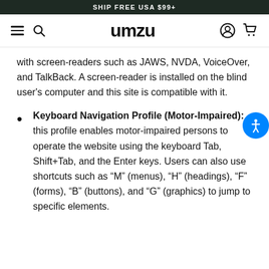SHIP FREE USA $99+
[Figure (logo): UMZU website navigation bar with hamburger menu, search icon, UMZU logo, account icon, and cart icon]
with screen-readers such as JAWS, NVDA, VoiceOver, and TalkBack. A screen-reader is installed on the blind user's computer and this site is compatible with it.
Keyboard Navigation Profile (Motor-Impaired): this profile enables motor-impaired persons to operate the website using the keyboard Tab, Shift+Tab, and the Enter keys. Users can also use shortcuts such as “M” (menus), “H” (headings), “F” (forms), “B” (buttons), and “G” (graphics) to jump to specific elements.